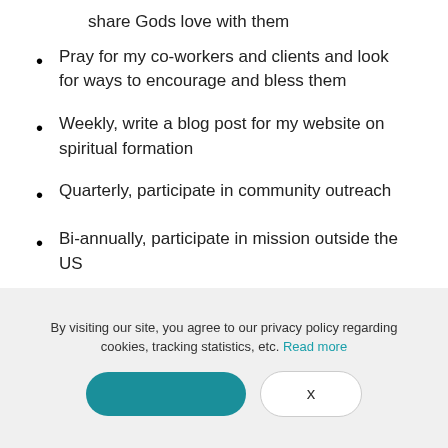share Gods love with them
Pray for my co-workers and clients and look for ways to encourage and bless them
Weekly, write a blog post for my website on spiritual formation
Quarterly, participate in community outreach
Bi-annually, participate in mission outside the US
Getting Started
By visiting our site, you agree to our privacy policy regarding cookies, tracking statistics, etc. Read more